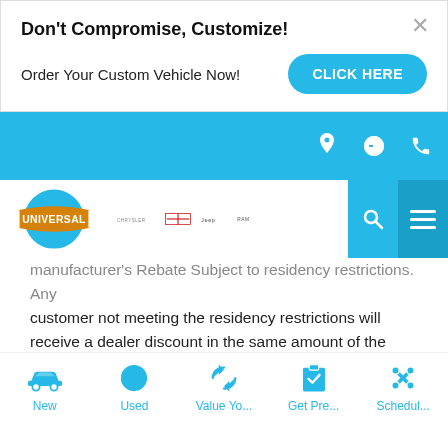Don't Compromise, Customize!
Order Your Custom Vehicle Now!
CLICK HERE
[Figure (screenshot): Universal dealership website navigation bar with blue background, location/time/phone icons, Universal logo, Chrysler/Dodge/Jeep/Ram brand logos, search and hamburger menu buttons]
manufacturer's Rebate Subject to residency restrictions. Any customer not meeting the residency restrictions will receive a dealer discount in the same amount of the manufacturer's rebate.
Testimonials
[Figure (other): Gray avatar circle (profile image placeholder)]
[Figure (other): Bottom navigation bar with icons: New, Used, Value Yo..., Get Pre..., Schedul...]